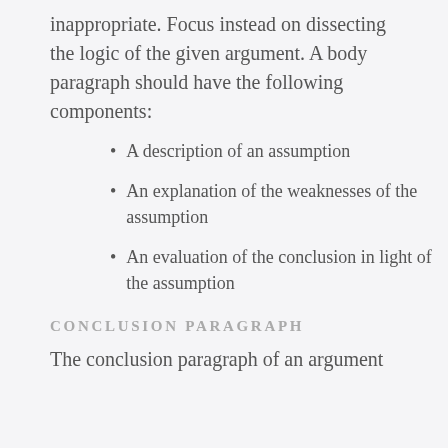inappropriate. Focus instead on dissecting the logic of the given argument. A body paragraph should have the following components:
A description of an assumption
An explanation of the weaknesses of the assumption
An evaluation of the conclusion in light of the assumption
CONCLUSION PARAGRAPH
The conclusion paragraph of an argument